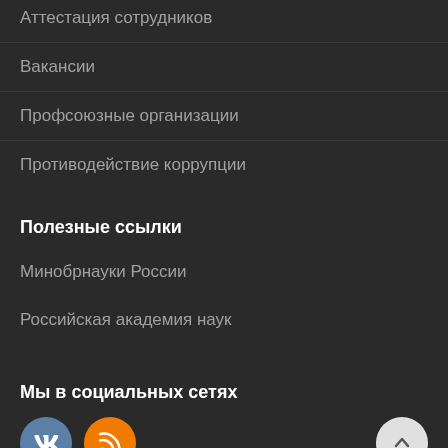Аттестация сотрудников
Вакансии
Профсоюзные организации
Противодействие коррупции
Полезные ссылки
Минобрнауки России
Российская академия наук
Мы в социальных сетях
[Figure (illustration): Social media icons: VK (blue circle with VK logo) and RSS (orange circle with RSS feed icon), plus a back-to-top button (light gray circle with up arrow)]